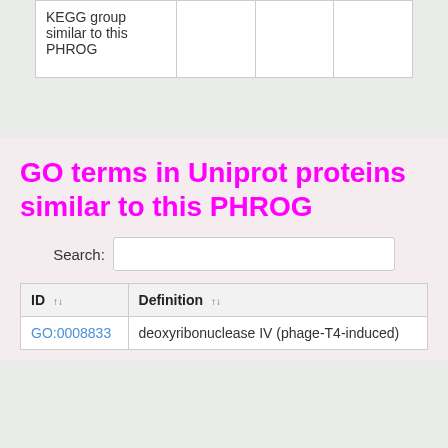| KEGG group similar to this PHROG |  |  |  |
| --- | --- | --- | --- |
|  |  |  |  |
GO terms in Uniprot proteins similar to this PHROG
| ID ↑↓ | Definition ↑↓ |
| --- | --- |
| GO:0008833 | deoxyribonuclease IV (phage-T4-induced) |